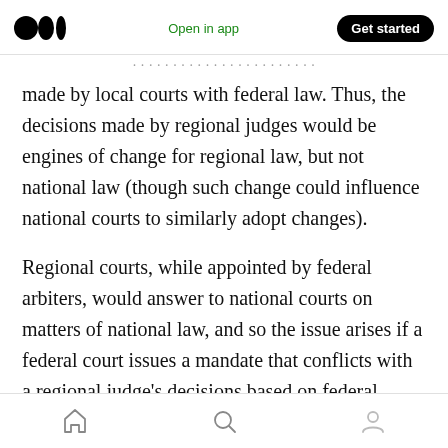Medium logo | Open in app | Get started
made by local courts with federal law. Thus, the decisions made by regional judges would be engines of change for regional law, but not national law (though such change could influence national courts to similarly adopt changes).
Regional courts, while appointed by federal arbiters, would answer to national courts on matters of national law, and so the issue arises if a federal court issues a mandate that conflicts with a regional judge’s decisions based on federal
Home | Search | Profile